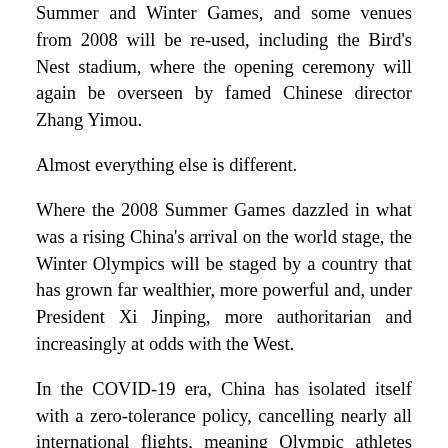Summer and Winter Games, and some venues from 2008 will be re-used, including the Bird's Nest stadium, where the opening ceremony will again be overseen by famed Chinese director Zhang Yimou.
Almost everything else is different.
Where the 2008 Summer Games dazzled in what was a rising China's arrival on the world stage, the Winter Olympics will be staged by a country that has grown far wealthier, more powerful and, under President Xi Jinping, more authoritarian and increasingly at odds with the West.
In the COVID-19 era, China has isolated itself with a zero-tolerance policy, cancelling nearly all international flights, meaning Olympic athletes and others must fly directly into a Games bubble on charters.
As in 2008, the Olympics have again cast a spotlight on China's human rights record, which critics say has worsened since then, leading Washington to call Beijing's treatment of Uyghur Muslims genocide and prompting a